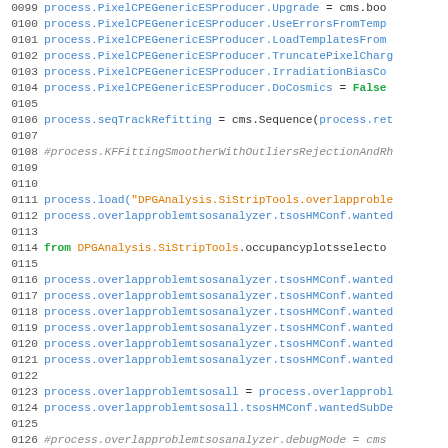Code listing lines 0099-0128 showing Python CMS configuration code for particle physics detector analysis